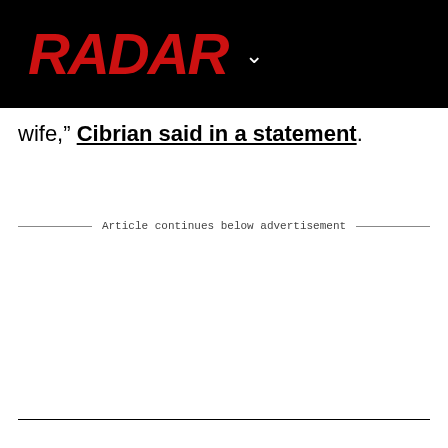RADAR
wife," Cibrian said in a statement.
Article continues below advertisement